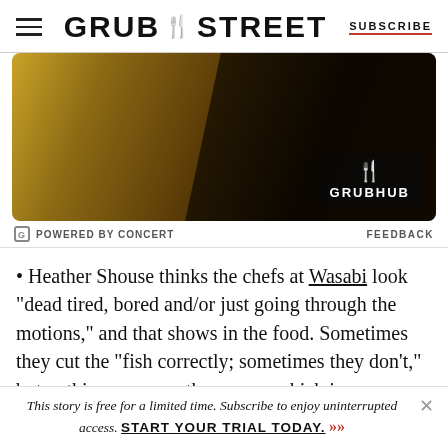GRUB STREET | SUBSCRIBE
[Figure (photo): Advertisement image showing decorative golden/wooden panels with a diagonal dark stripe overlay and a Grubhub logo badge in the lower right corner.]
POWERED BY CONCERT   FEEDBACK
Heather Shouse thinks the chefs at Wasabi look "dead tired, bored and/or just going through the motions," and that shows in the food. Sometimes they cut the "fish correctly; sometimes they don't," but nothing can save the ramen, which is "assembled from one-note broth and uninspired
This story is free for a limited time. Subscribe to enjoy uninterrupted access. START YOUR TRIAL TODAY. »»